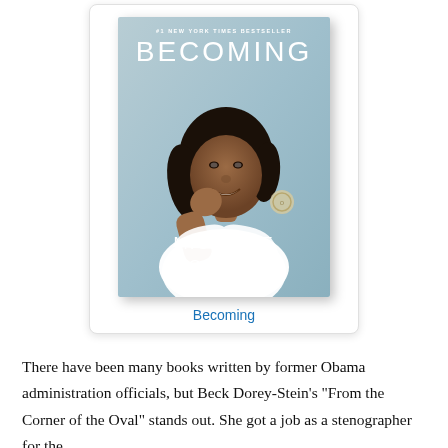[Figure (photo): Book cover of 'Becoming' by Michelle Obama — #1 New York Times Bestseller. Shows Michelle Obama smiling, wearing a white top, against a light teal/grey background. Author name 'MICHELLE OBAMA' at the bottom, 'BECOMING' as the main title.]
Becoming
There have been many books written by former Obama administration officials, but Beck Dorey-Stein's "From the Corner of the Oval" stands out. She got a job as a stenographer for the